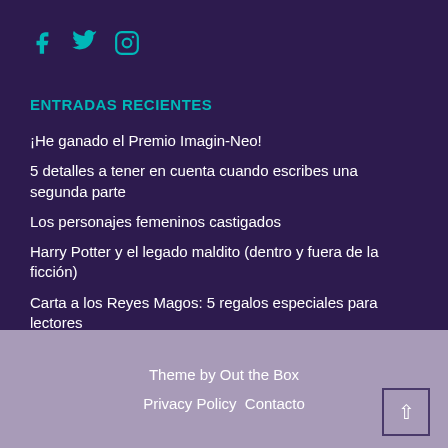[Figure (other): Social media icons: Facebook (f), Twitter (bird), Instagram (camera)]
ENTRADAS RECIENTES
¡He ganado el Premio Imagin-Neo!
5 detalles a tener en cuenta cuando escribes una segunda parte
Los personajes femeninos castigados
Harry Potter y el legado maldito (dentro y fuera de la ficción)
Carta a los Reyes Magos: 5 regalos especiales para lectores
Theme by Out the Box  Privacy Policy  Contacto